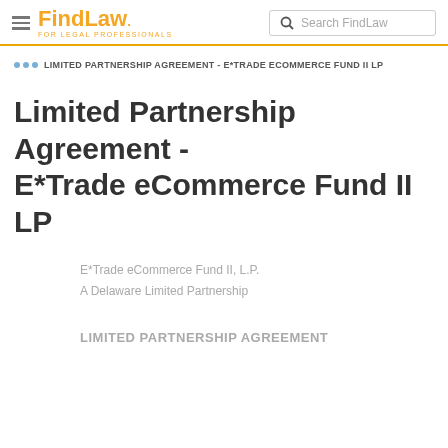FindLaw FOR LEGAL PROFESSIONALS | Search FindLaw
LIMITED PARTNERSHIP AGREEMENT - E*TRADE ECOMMERCE FUND II LP
Limited Partnership Agreement - E*Trade eCommerce Fund II LP
E*Trade eCommerce Fund II, L.P.
A Delaware Limited Partnership
LIMITED PARTNERSHIP AGREEMENT